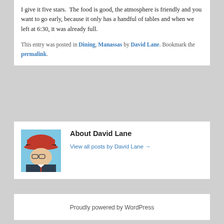I give it five stars.  The food is good, the atmosphere is friendly and you want to go early, because it only has a handful of tables and when we left at 6:30, it was already full.
This entry was posted in Dining, Manassas by David Lane. Bookmark the permalink.
About David Lane
View all posts by David Lane →
Proudly powered by WordPress